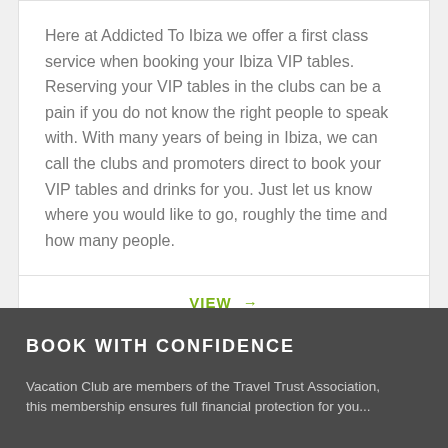Here at Addicted To Ibiza we offer a first class service when booking your Ibiza VIP tables. Reserving your VIP tables in the clubs can be a pain if you do not know the right people to speak with. With many years of being in Ibiza, we can call the clubs and promoters direct to book your VIP tables and drinks for you. Just let us know where you would like to go, roughly the time and how many people.
VIEW →
BOOK WITH CONFIDENCE
Vacation Club are members of the Travel Trust Association, this membership ensures full financial protection for you...